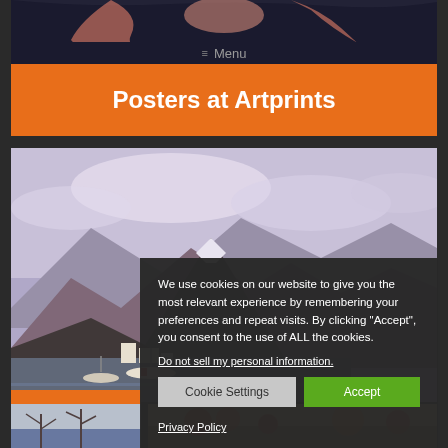[Figure (photo): Dark header area with arms/figure silhouette on dark navy background]
≡ Menu
Posters at Artprints
[Figure (photo): Landscape photo showing dramatic mountain peaks with snow and a harbor/dock with boats in foreground under cloudy purple-tinted sky]
We use cookies on our website to give you the most relevant experience by remembering your preferences and repeat visits. By clicking “Accept”, you consent to the use of ALL the cookies.
Do not sell my personal information.
Cookie Settings
Accept
Privacy Policy
[Figure (photo): Small orange/color block]
[Figure (photo): Small thumbnail photo bottom left - winter/tree scene]
[Figure (photo): Small thumbnail photo bottom right - autumn/warm toned scene]